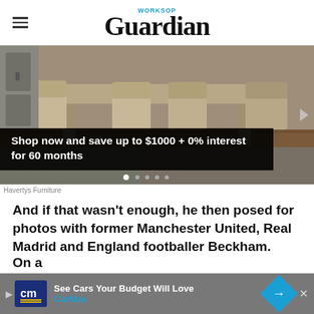WORKSOP Guardian
[Figure (photo): Dining room furniture — wooden table and chairs on a granite surface. Advertisement for Havertys Furniture with text overlay: 'Shop now and save up to $1000 + 0% interest for 60 months']
Havertys Furniture
And if that wasn't enough, he then posed for photos with former Manchester United, Real Madrid and England footballer Beckham.
On a ... kham
[Figure (infographic): CarMax advertisement bar: 'See Cars Your Budget Will Love — CarMax']